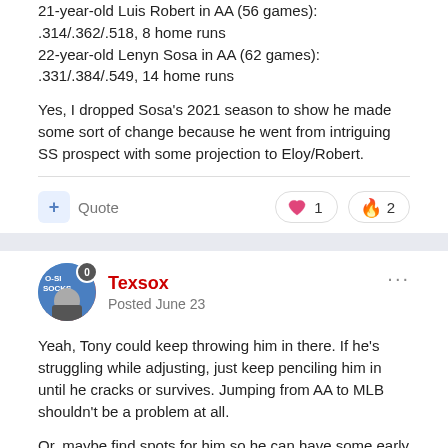21-year-old Luis Robert in AA (56 games): .314/.362/.518, 8 home runs
22-year-old Lenyn Sosa in AA (62 games): .331/.384/.549, 14 home runs
Yes, I dropped Sosa's 2021 season to show he made some sort of change because he went from intriguing SS prospect with some projection to Eloy/Robert.
Texsox
Posted June 23
Yeah, Tony could keep throwing him in there. If he's struggling while adjusting, just keep penciling him in until he cracks or survives. Jumping from AA to MLB shouldn't be a problem at all.
Or, maybe find spots for him so he can have some early success and build his confidence. Long term player developmental goals